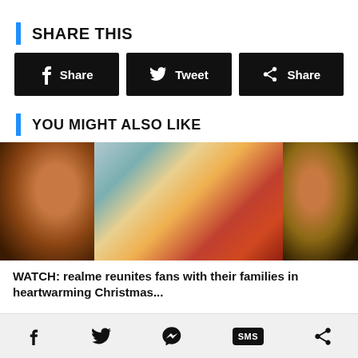SHARE THIS
[Figure (infographic): Three share buttons: Facebook Share, Twitter Tweet, Generic Share]
YOU MIGHT ALSO LIKE
[Figure (photo): Three thumbnail photos of people including children eating at a table]
WATCH: realme reunites fans with their families in heartwarming Christmas...
[Figure (infographic): Bottom navigation bar with Facebook, Twitter, Messenger, SMS, and Share icons]